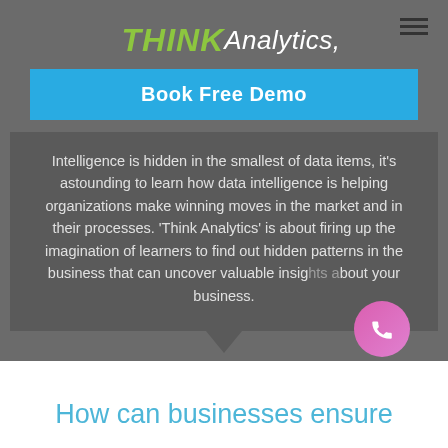[Figure (logo): THINK Analytics logo with hamburger menu icon]
Book Free Demo
Intelligence is hidden in the smallest of data items, it's astounding to learn how data intelligence is helping organizations make winning moves in the market and in their processes. 'Think Analytics' is about firing up the imagination of learners to find out hidden patterns in the business that can uncover valuable insights about your business.
How can businesses ensure